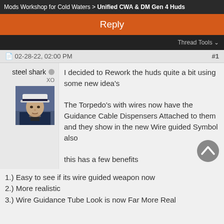Mods Workshop for Cold Waters > Unified CWA & DM Gen 4 Huds
Reply
Thread Tools
02-28-22, 02:00 PM  #1
steel shark
XO
[Figure (photo): Avatar photo of a naval officer in white dress uniform cap]
I decided to Rework the huds quite a bit using some new idea's

The Torpedo's with wires now have the Guidance Cable Dispensers Attached to them and they show in the new Wire guided Symbol also

this has a few benefits
1.) Easy to see if its wire guided weapon now
2.) More realistic
3.) Wire Guidance Tube Look is now Far More Real